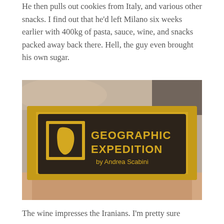He then pulls out cookies from Italy, and various other snacks. I find out that he'd left Milano six weeks earlier with 400kg of pasta, sauce, wine, and snacks packed away back there. Hell, the guy even brought his own sugar.
[Figure (photo): A close-up photo of a sugar packet with a yellow border and dark brown center. The packet shows a logo with the continent of Africa and the text 'GEOGRAPHIC EXPEDITION by Andrea Scabini'. A hand is holding the packet.]
The wine impresses the Iranians. I'm pretty sure